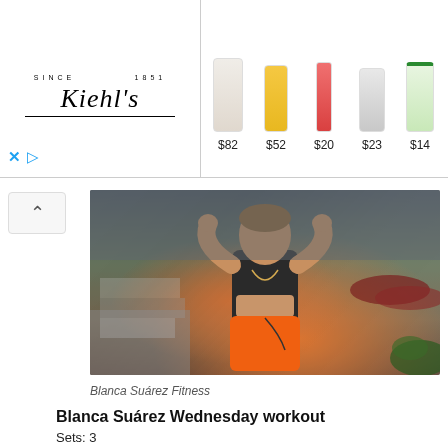[Figure (screenshot): Kiehl's advertisement banner with logo on the left and 5 product images with prices ($82, $52, $20, $23, $14) on the right]
[Figure (photo): Photo of a woman in a black sports bra and orange shorts in a boxing pose outdoors]
Blanca Suárez Fitness
Blanca Suárez Wednesday workout
Sets: 3